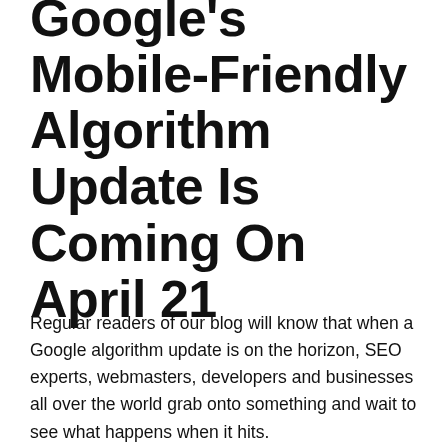Google's Mobile-Friendly Algorithm Update Is Coming On April 21
Regular readers of our blog will know that when a Google algorithm update is on the horizon, SEO experts, webmasters, developers and businesses all over the world grab onto something and wait to see what happens when it hits.